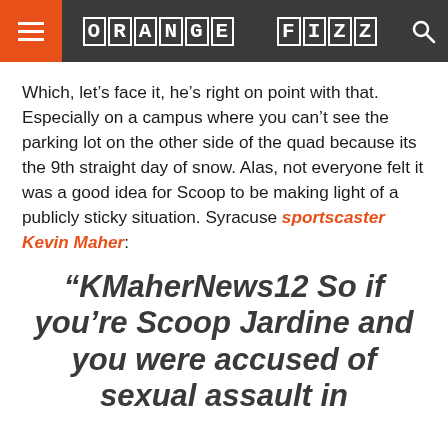ORANGE FIZZ
Which, let’s face it, he’s right on point with that. Especially on a campus where you can’t see the parking lot on the other side of the quad because its the 9th straight day of snow. Alas, not everyone felt it was a good idea for Scoop to be making light of a publicly sticky situation. Syracuse sportscaster Kevin Maher:
“KMaherNews12 So if you’re Scoop Jardine and you were accused of sexual assault in